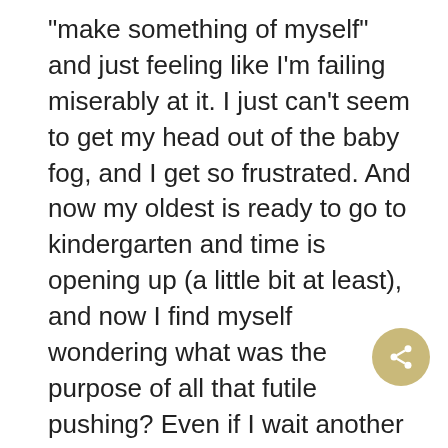“make something of myself” and just feeling like I’m failing miserably at it. I just can’t seem to get my head out of the baby fog, and I get so frustrated. And now my oldest is ready to go to kindergarten and time is opening up (a little bit at least), and now I find myself wondering what was the purpose of all that futile pushing? Even if I wait another five years to pursue my own dreams, I’ll only be 37! I could have a long writing career ahead of me. I totally need to chill out and enjoy my kids while they are young. The future is